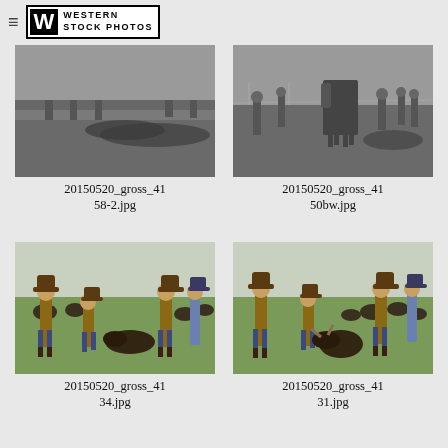Western Stock Photos
[Figure (photo): Black and white photo of people working with cattle on the ground in a field]
20150520_gross_4158-2.jpg
[Figure (photo): Black and white photo of people working with cattle, horse visible in background, open field]
20150520_gross_4150bw.jpg
[Figure (photo): Color photo of cowboys working with cattle in a green field, cattle visible in background]
20150520_gross_4134.jpg
[Figure (photo): Color photo of cowboys wrestling a calf in a green field with cattle in background]
20150520_gross_4131.jpg